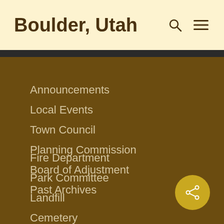Boulder, Utah
Announcements
Local Events
Town Council
Planning Commission
Board of Adjustment
Past Archives
Fire Department
Park Committee
Landfill
Cemetery
Tree City Committee